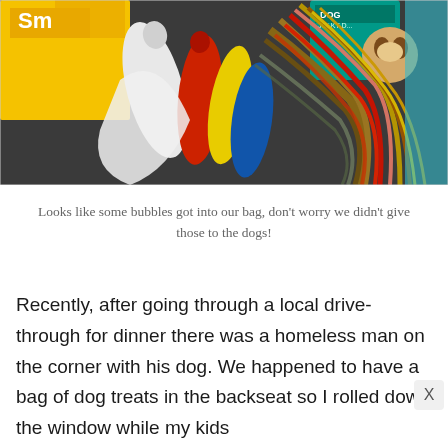[Figure (photo): Photo of items in a car or bag including bottles of paint/bubbles, what appears to be colorful rope dog toys, candy packaging (Skittles), and a dog toy package visible in the upper right.]
Looks like some bubbles got into our bag, don't worry we didn't give those to the dogs!
Recently, after going through a local drive-through for dinner there was a homeless man on the corner with his dog. We happened to have a bag of dog treats in the backseat so I rolled down the window while my kids